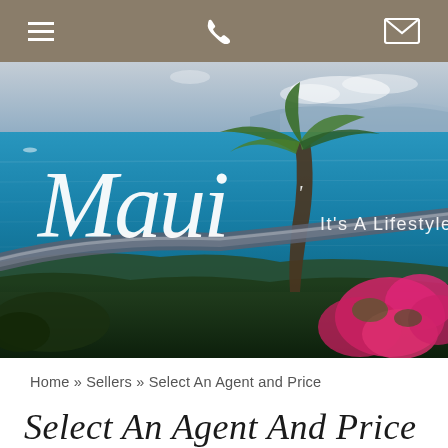Navigation bar with menu, phone, and email icons
[Figure (photo): Coastal Maui Hawaii scene with blue ocean, palm tree, pink bougainvillea flowers, a metal railing/cannon in foreground, mountains on horizon, and overlay script text reading 'Maui It's a Lifestyle!']
Home » Sellers » Select An Agent and Price
Select An Agent And Price